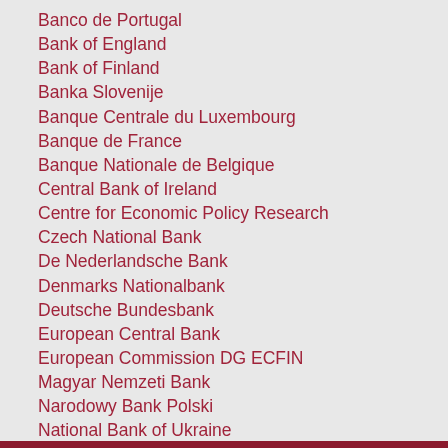Banco de Portugal
Bank of England
Bank of Finland
Banka Slovenije
Banque Centrale du Luxembourg
Banque de France
Banque Nationale de Belgique
Central Bank of Ireland
Centre for Economic Policy Research
Czech National Bank
De Nederlandsche Bank
Denmarks Nationalbank
Deutsche Bundesbank
European Central Bank
European Commission DG ECFIN
Magyar Nemzeti Bank
Narodowy Bank Polski
National Bank of Ukraine
Norges Bank
Oesterreichische Nationalbank
South African Reserve Bank
Sveriges Riksbank